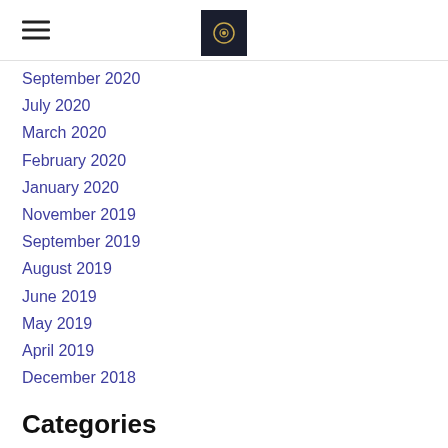[Hamburger menu icon] [Logo]
September 2020
July 2020
March 2020
February 2020
January 2020
November 2019
September 2019
August 2019
June 2019
May 2019
April 2019
December 2018
Categories
All
RSS Feed